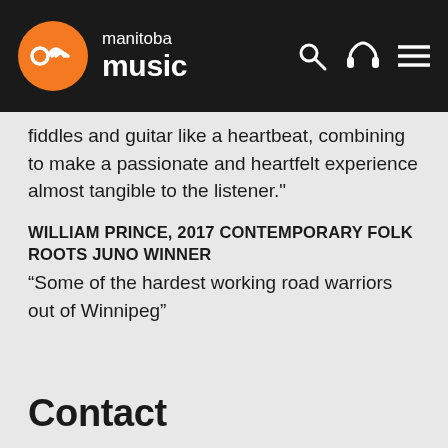manitoba music
fiddles and guitar like a heartbeat, combining to make a passionate and heartfelt experience almost tangible to the listener."
WILLIAM PRINCE, 2017 CONTEMPORARY FOLK ROOTS JUNO WINNER
“Some of the hardest working road warriors out of Winnipeg”
Contact
NAME
The New Customs